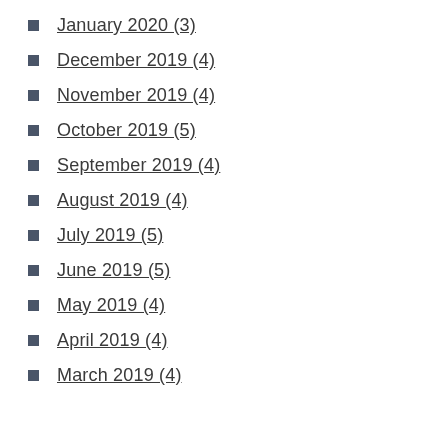January 2020 (3)
December 2019 (4)
November 2019 (4)
October 2019 (5)
September 2019 (4)
August 2019 (4)
July 2019 (5)
June 2019 (5)
May 2019 (4)
April 2019 (4)
March 2019 (4)